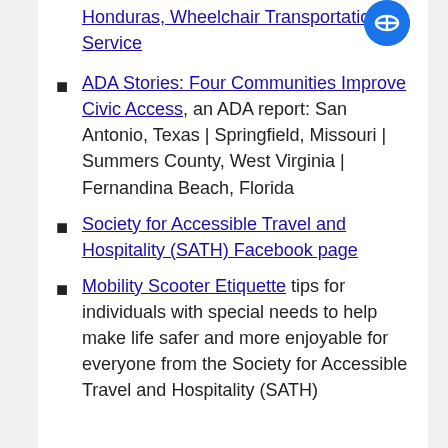Honduras, Wheelchair Transportation Service
ADA Stories: Four Communities Improve Civic Access, an ADA report: San Antonio, Texas | Springfield, Missouri | Summers County, West Virginia | Fernandina Beach, Florida
Society for Accessible Travel and Hospitality (SATH) Facebook page
Mobility Scooter Etiquette tips for individuals with special needs to help make life safer and more enjoyable for everyone from the Society for Accessible Travel and Hospitality (SATH)